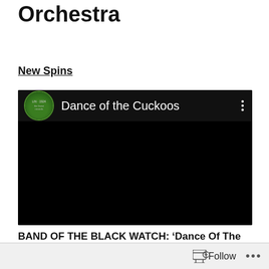Orchestra
New Spins
[Figure (screenshot): Embedded video player with black background showing 'Dance of the Cuckoos' title with a circular green channel avatar on the left and three vertical dots menu on the right]
BAND OF THE BLACK WATCH: ‘Dance Of The
Follow ...